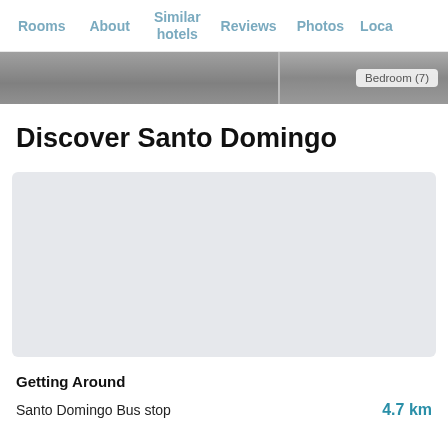Rooms  About  Similar hotels  Reviews  Photos  Loca...
[Figure (photo): Partial hotel bedroom image strip with 'Bedroom (7)' badge on the right side]
Discover Santo Domingo
[Figure (map): Map placeholder showing location in Santo Domingo]
Getting Around
Santo Domingo Bus stop  4.7 km